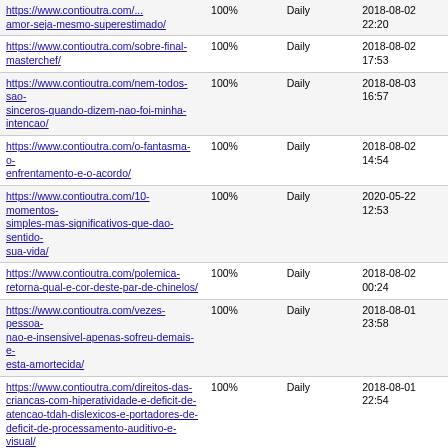| https://www.contioutra.com/...amor-seja-mesmo-superestimado/ | 100% | Daily | 2018-08-02 22:20 |
| https://www.contioutra.com/sobre-final-masterchef/ | 100% | Daily | 2018-08-02 17:53 |
| https://www.contioutra.com/nem-todos-sao-sinceros-quando-dizem-nao-foi-minha-intencao/ | 100% | Daily | 2018-08-03 16:57 |
| https://www.contioutra.com/o-fantasma-o-enfrentamento-e-o-acordo/ | 100% | Daily | 2018-08-02 14:54 |
| https://www.contioutra.com/10-momentos-simples-mas-significativos-que-dao-sentido-sua-vida/ | 100% | Daily | 2020-05-22 12:53 |
| https://www.contioutra.com/polemica-retorna-qual-e-cor-deste-par-de-chinelos/ | 100% | Daily | 2018-08-02 00:24 |
| https://www.contioutra.com/vezes-pessoa-nao-e-insensivel-apenas-sofreu-demais-e-esta-amortecida/ | 100% | Daily | 2018-08-01 23:58 |
| https://www.contioutra.com/direitos-das-criancas-com-hiperatividade-e-deficit-de-atencao-tdah-dislexicos-e-portadores-de-deficit-de-processamento-auditivo-e-visual/ | 100% | Daily | 2018-08-01 22:54 |
| https://www.contioutra.com/ponte-de-tirar-o-folego-no-vietna-acaba-de-ser-aberta-e-parece-que-veio-direto-senhor-dos-aneis/ | 100% | Daily | 2018-08-01 21:02 |
| https://www.contioutra.com/voce-tambem-esta-intrigado-com-reacao-aviaozinho-nos-comentarios-face-entenda/ | 100% | Daily | 2018-08-01 15:16 |
| https://www.contioutra.com/apos-homenagear-filho-falecido-com-tatuagem-casal-celebra-chegada-de-novo-bebe/ | 100% | Daily | 2018-08-01 00:27 |
Generated with Google (XML) Sitemaps Generator Plugin for WordPress by Auctollo. This XSLT template is released under the GPL and free to use. If you have problems with your sitemap please visit the support forum.